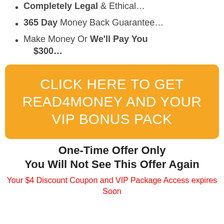Completely Legal & Ethical...
365 Day Money Back Guarantee...
Make Money Or We'll Pay You $300...
[Figure (other): Orange CTA button with text: CLICK HERE TO GET READ4MONEY AND YOUR VIP BONUS PACK]
One-Time Offer Only
You Will Not See This Offer Again
Your $4 Discount Coupon and VIP Package Access expires Soon